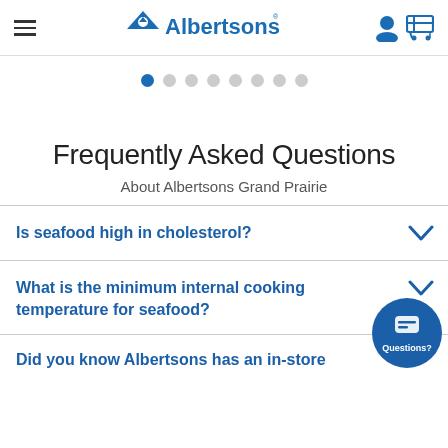Albertsons header navigation
[Figure (other): Carousel pagination dots, 8 dots with first one active (blue)]
Frequently Asked Questions
About Albertsons Grand Prairie
Is seafood high in cholesterol?
What is the minimum internal cooking temperature for seafood?
Did you know Albertsons has an in-store